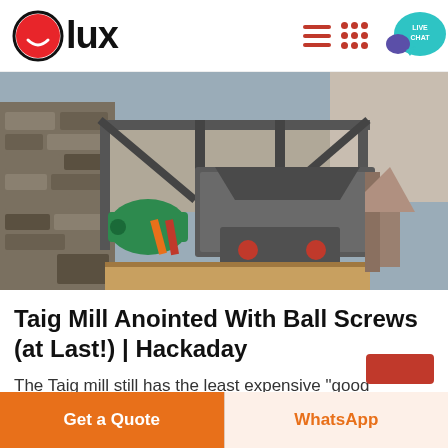lux
[Figure (photo): Industrial ball mill / grinding machine equipment outdoors near a stone wall, with green motor and steel frame structure visible]
Taig Mill Anointed With Ball Screws (at Last!) | Hackaday
The Taig mill still has the least expensive "good"
Get a Quote | WhatsApp